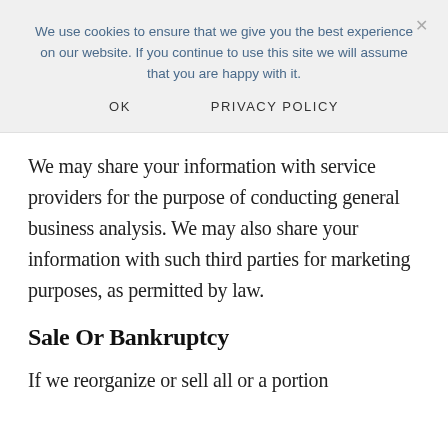We use cookies to ensure that we give you the best experience on our website. If you continue to use this site we will assume that you are happy with it.
OK   PRIVACY POLICY
We may share your information with service providers for the purpose of conducting general business analysis. We may also share your information with such third parties for marketing purposes, as permitted by law.
Sale Or Bankruptcy
If we reorganize or sell all or a portion